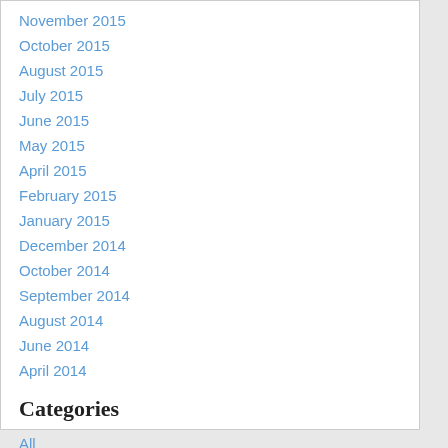November 2015
October 2015
August 2015
July 2015
June 2015
May 2015
April 2015
February 2015
January 2015
December 2014
October 2014
September 2014
August 2014
June 2014
April 2014
Categories
All
RSS Feed